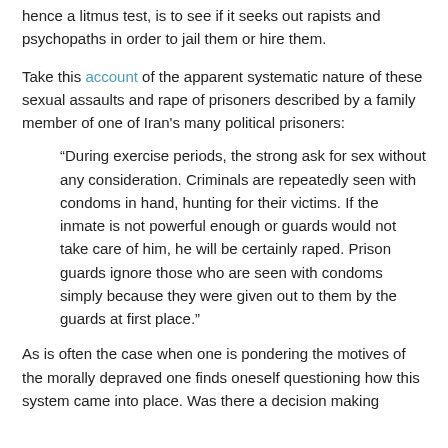hence a litmus test, is to see if it seeks out rapists and psychopaths in order to jail them or hire them.
Take this account of the apparent systematic nature of these sexual assaults and rape of prisoners described by a family member of one of Iran's many political prisoners:
“During exercise periods, the strong ask for sex without any consideration. Criminals are repeatedly seen with condoms in hand, hunting for their victims. If the inmate is not powerful enough or guards would not take care of him, he will be certainly raped. Prison guards ignore those who are seen with condoms simply because they were given out to them by the guards at first place.”
As is often the case when one is pondering the motives of the morally depraved one finds oneself questioning how this system came into place. Was there a decision making